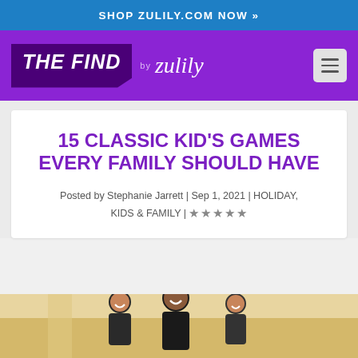SHOP ZULILY.COM NOW »
[Figure (logo): THE FIND by Zulily logo with purple background and hamburger menu icon]
15 CLASSIC KID'S GAMES EVERY FAMILY SHOULD HAVE
Posted by Stephanie Jarrett | Sep 1, 2021 | HOLIDAY, KIDS & FAMILY | ★★★★★
[Figure (photo): Photo of a family at the bottom of the page, partially visible]